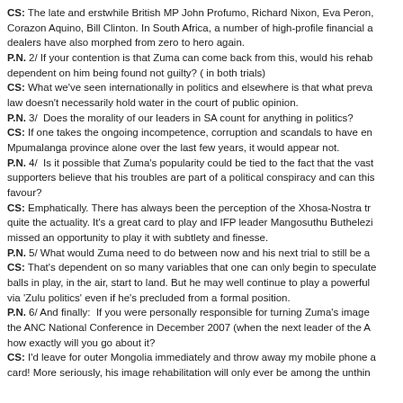CS: The late and erstwhile British MP John Profumo, Richard Nixon, Eva Peron, Corazon Aquino, Bill Clinton. In South Africa, a number of high-profile financial a... dealers have also morphed from zero to hero again.
P.N. 2/ If your contention is that Zuma can come back from this, would his rehab... dependent on him being found not guilty? ( in both trials)
CS: What we've seen internationally in politics and elsewhere is that what preva... law doesn't necessarily hold water in the court of public opinion.
P.N. 3/  Does the morality of our leaders in SA count for anything in politics?
CS: If one takes the ongoing incompetence, corruption and scandals to have en... Mpumalanga province alone over the last few years, it would appear not.
P.N. 4/  Is it possible that Zuma's popularity could be tied to the fact that the vast... supporters believe that his troubles are part of a political conspiracy and can this... favour?
CS: Emphatically. There has always been the perception of the Xhosa-Nostra tr... quite the actuality. It's a great card to play and IFP leader Mangosuthu Buthelezi... missed an opportunity to play it with subtlety and finesse.
P.N. 5/ What would Zuma need to do between now and his next trial to still be a...
CS: That's dependent on so many variables that one can only begin to speculate... balls in play, in the air, start to land. But he may well continue to play a powerful... via 'Zulu politics' even if he's precluded from a formal position.
P.N. 6/ And finally:  If you were personally responsible for turning Zuma's image... the ANC National Conference in December 2007 (when the next leader of the A... how exactly will you go about it?
CS: I'd leave for outer Mongolia immediately and throw away my mobile phone a... card! More seriously, his image rehabilitation will only ever be among the unthin...